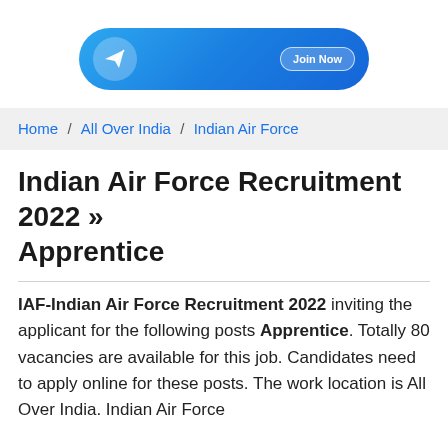[Figure (other): Telegram channel banner button with paper plane icon and 'Join Now' label on blue rounded rectangle background]
Home / All Over India / Indian Air Force
Indian Air Force Recruitment 2022 » Apprentice
IAF-Indian Air Force Recruitment 2022 inviting the applicant for the following posts Apprentice. Totally 80 vacancies are available for this job. Candidates need to apply online for these posts. The work location is All Over India. Indian Air Force